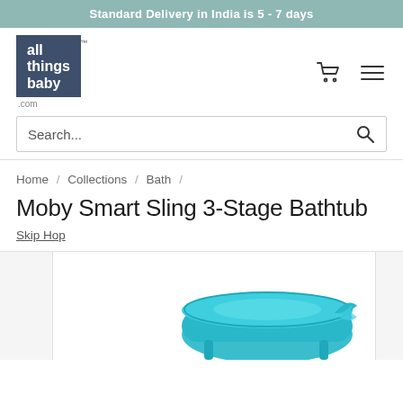Standard Delivery in India is 5 - 7 days
[Figure (logo): All Things Baby logo - square dark blue box with white text 'all things baby' and '.com' suffix]
Search...
Home / Collections / Bath /
Moby Smart Sling 3-Stage Bathtub
Skip Hop
[Figure (photo): Product photo of Moby Smart Sling 3-Stage Bathtub in teal/blue color, partially visible at bottom of page]